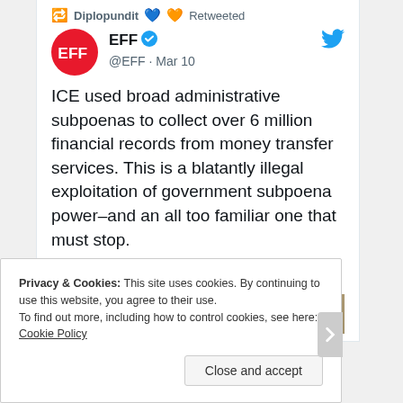Diplopundit 💙🧡 Retweeted
[Figure (screenshot): EFF Twitter account profile with red circle logo showing 'EFF' text in white, verified blue checkmark, @EFF handle, Mar 10 date, and blue Twitter bird icon]
EFF ✓ @EFF · Mar 10
ICE used broad administrative subpoenas to collect over 6 million financial records from money transfer services. This is a blatantly illegal exploitation of government subpoena power–and an all too familiar one that must stop.
eff.org/deeplinks/2022…
Privacy & Cookies: This site uses cookies. By continuing to use this website, you agree to their use.
To find out more, including how to control cookies, see here: Cookie Policy
Close and accept